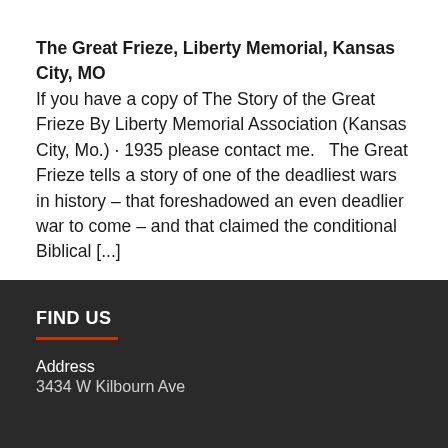The Great Frieze, Liberty Memorial, Kansas City, MO
If you have a copy of The Story of the Great Frieze By Liberty Memorial Association (Kansas City, Mo.) · 1935 please contact me.   The Great Frieze tells a story of one of the deadliest wars in history – that foreshadowed an even deadlier war to come – and that claimed the conditional Biblical [...]
FIND US
Address
3434 W Kilbourn Ave